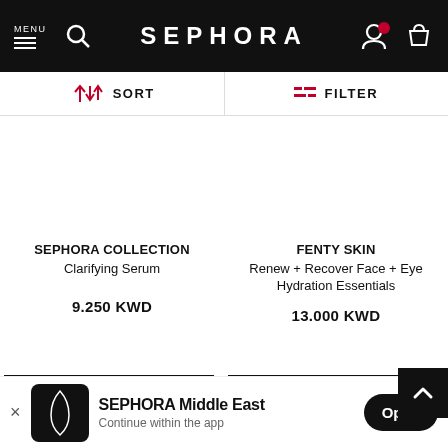MENU | SEPHORA
↓↑ SORT | FILTER
SEPHORA COLLECTION Clarifying Serum
9.250 KWD
FENTY SKIN Renew + Recover Face + Eye Hydration Essentials
13.000 KWD
ADD TO BASKET
ADD TO BASKET
SEPHORA Middle East
Continue within the app
Open